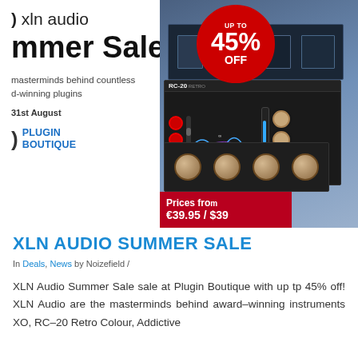[Figure (infographic): XLN Audio Summer Sale promotional banner with plugin UI screenshots, a red circular badge showing UP TO 45% OFF, Plugin Boutique logo, and a red price banner showing Prices from €39.95 / $39]
XLN AUDIO SUMMER SALE
In Deals, News by Noizefield /
XLN Audio Summer Sale sale at Plugin Boutique with up tp 45% off! XLN Audio are the masterminds behind award-winning instruments XO, RC-20 Retro Colour, Addictive